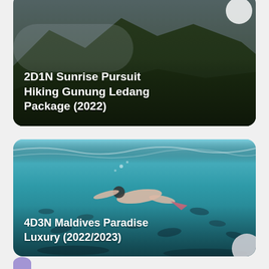[Figure (photo): Aerial or drone photo of forested mountain slopes (Gunung Ledang) with dark green trees and misty mountain ridge. White text overlay reads '2D1N Sunrise Pursuit Hiking Gunung Ledang Package (2022)'. A circular icon is partially visible at the top right corner.]
[Figure (photo): Underwater photo of a person snorkeling/swimming among many fish including sharks in clear turquoise water. White text overlay reads '4D3N Maldives Paradise Luxury (2022/2023)'. A circular icon is partially visible at the bottom right corner.]